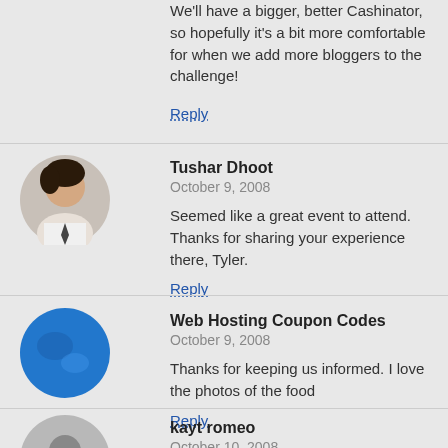We'll have a bigger, better Cashinator, so hopefully it's a bit more comfortable for when we add more bloggers to the challenge!
Reply
Tushar Dhoot
October 9, 2008
Seemed like a great event to attend. Thanks for sharing your experience there, Tyler.
Reply
Web Hosting Coupon Codes
October 9, 2008
Thanks for keeping us informed. I love the photos of the food
Reply
kayt romeo
October 10, 2008
Cool! The funky bird is called a "creasted crane" and its